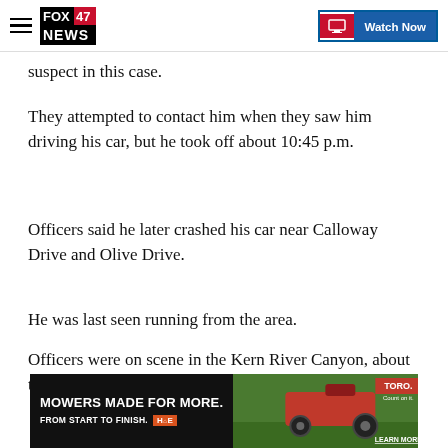FOX 47 NEWS | Watch Now
suspect in this case.
They attempted to contact him when they saw him driving his car, but he took off about 10:45 p.m.
Officers said he later crashed his car near Calloway Drive and Olive Drive.
He was last seen running from the area.
Officers were on scene in the Kern River Canyon, about three miles in near Democrat Boat Launch, regard...
[Figure (photo): Advertisement banner: MOWERS MADE FOR MORE. FROM START TO FINISH. Toro brand mower advertisement with photo of red mower on grass. Home Depot logo. LEARN MORE button.]